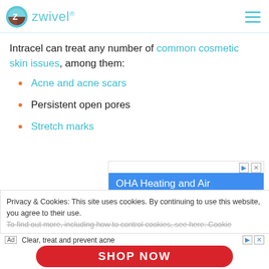zwivel
Intracel can treat any number of common cosmetic skin issues, among them:
Acne and acne scars
Persistent open pores
Stretch marks
[Figure (screenshot): Advertisement banner: OHA Heating and Air with close and play buttons]
Privacy & Cookies: This site uses cookies. By continuing to use this website, you agree to their use. To find out more, including how to control cookies, see here: Cookie...
[Figure (screenshot): Advertisement: Clear, treat and prevent acne — SHOP NOW button in red]